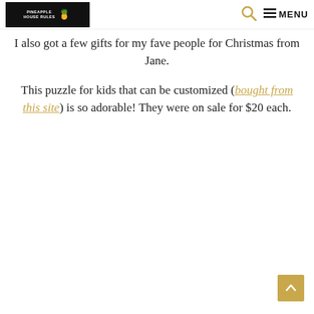PINEAPPLE HOUSE RULES [logo] [search icon] ≡ MENU
I also got a few gifts for my fave people for Christmas from Jane.
This puzzle for kids that can be customized (bought from this site) is so adorable! They were on sale for $20 each.